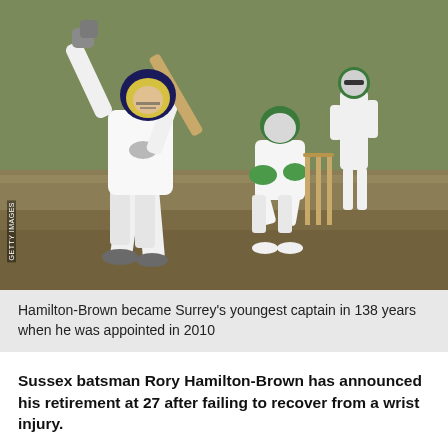[Figure (photo): Cricket match photo showing a batsman in white kit playing a lofted shot, with a wicketkeeper and another fielder in green caps behind the stumps, on a grass field.]
Hamilton-Brown became Surrey's youngest captain in 138 years when he was appointed in 2010
Sussex batsman Rory Hamilton-Brown has announced his retirement at 27 after failing to recover from a wrist injury.
The former Surrey captain picked up the injury at the beginning of last season and his last appearance was a Twenty20 match against Middlesex on 27 June.